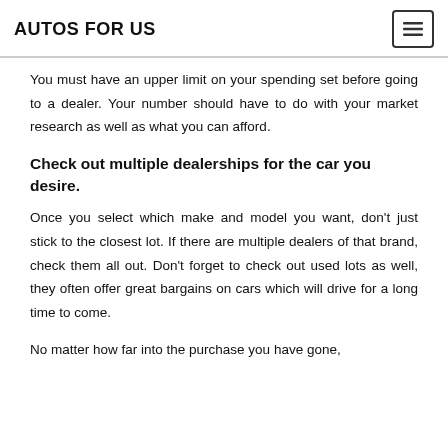AUTOS FOR US
You must have an upper limit on your spending set before going to a dealer. Your number should have to do with your market research as well as what you can afford.
Check out multiple dealerships for the car you desire.
Once you select which make and model you want, don't just stick to the closest lot. If there are multiple dealers of that brand, check them all out. Don't forget to check out used lots as well, they often offer great bargains on cars which will drive for a long time to come.
No matter how far into the purchase you have gone,